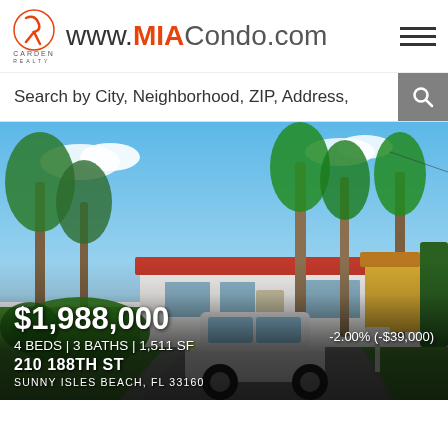www.MIACondo.com — Carden Realty
Search by City, Neighborhood, ZIP, Address,
[Figure (photo): Exterior photo of a white single-story home with red tile roof, tall palm trees, a white SUV in the driveway, lush green lawn, sunny Florida day]
$1,988,000
-2.00% (-$39,000)
4 BEDS | 3 BATHS | 1,511 SF
210 188TH ST
SUNNY ISLES BEACH, FL 33160